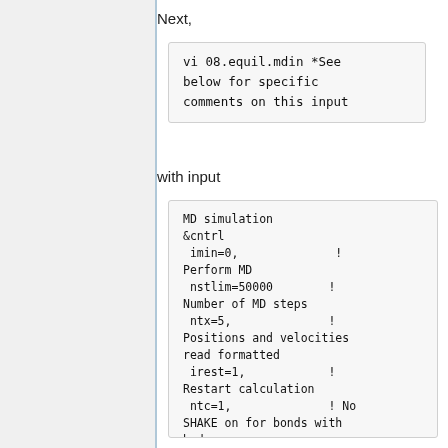Next,
vi 08.equil.mdin *See below for specific comments on this input
with input
MD simulation
 &cntrl
  imin=0,              ! Perform MD
  nstlim=50000        ! Number of MD steps
  ntx=5,              ! Positions and velocities read formatted
  irest=1,            ! Restart calculation
  ntc=1,              ! No SHAKE on for bonds with hydrogen
  dt=0.001,           !